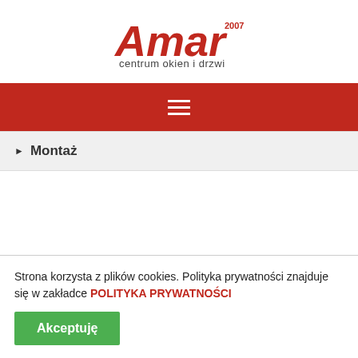[Figure (logo): Amar logo with red stylized text 'Amar' and superscript '2007', subtitle 'centrum okien i drzwi' in dark gray]
[Figure (other): Red navigation bar with white hamburger menu icon (three horizontal lines)]
▶ Montaż
Strona korzysta z plików cookies. Polityka prywatności znajduje się w zakładce POLITYKA PRYWATNOŚCI
Akceptuję